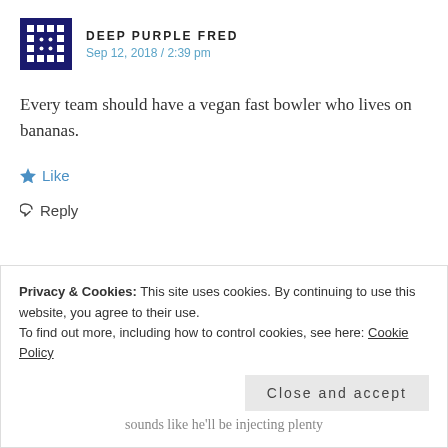[Figure (illustration): Deep purple pixel/mosaic avatar icon — dark navy blue square with dot/grid pattern]
DEEP PURPLE FRED
Sep 12, 2018 / 2:39 pm
Every team should have a vegan fast bowler who lives on bananas.
★ Like
↩ Reply
[Figure (photo): Small square avatar photo with brown/golden tones, appears to be a close-up photo]
ORESTON
Sep 12, 2018 / 9:54 pm
Privacy & Cookies: This site uses cookies. By continuing to use this website, you agree to their use.
To find out more, including how to control cookies, see here: Cookie Policy
Close and accept
sounds like he'll be injecting plenty